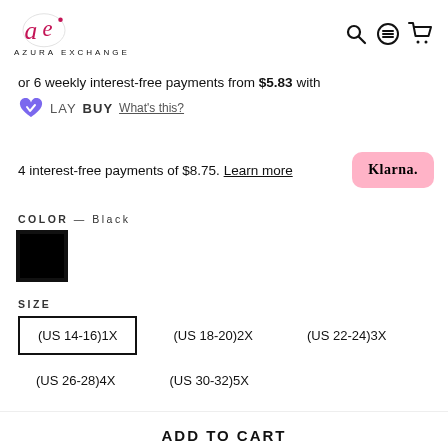[Figure (logo): Azura Exchange logo with stylized 'ae' in crimson/pink cursive and brand name AZURA EXCHANGE below]
or 6 weekly interest-free payments from $5.83 with LAYBUY What's this?
4 interest-free payments of $8.75. Learn more
[Figure (logo): Klarna pink badge with bold text 'Klarna.']
COLOR — Black
[Figure (other): Black color swatch square with border]
SIZE
(US 14-16)1X
(US 18-20)2X
(US 22-24)3X
(US 26-28)4X
(US 30-32)5X
ADD TO CART